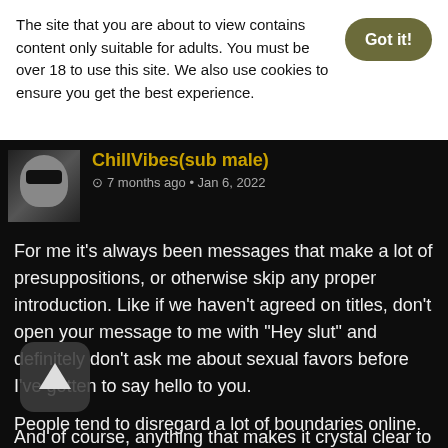The site that you are about to view contains content only suitable for adults. You must be over 18 to use this site. We also use cookies to ensure you get the best experience.
Got it!
ChillVibes(sub male)
⊙ 7 months ago • Jan 6, 2022
For me it's always been messages that make a lot of presuppositions, or otherwise skip any proper introduction. Like if we haven't agreed on titles, don't open your message to me with "Hey slut" and definitely don't ask me about sexual favors before I've gotten to say hello to you.
And of course, anything that makes it crystal clear to me that my profile wasn't even read before I was messaged.
[Figure (other): Scroll-to-top button with upward arrow icon]
People tend to disregard a lot of boundaries online.